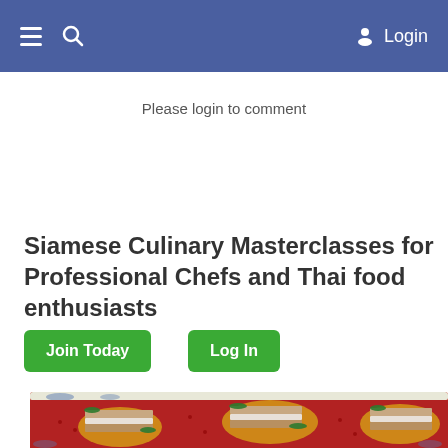≡  🔍  Login
Please login to comment
Siamese Culinary Masterclasses for Professional Chefs and Thai food enthusiasts
Join Today
Log In
[Figure (photo): Plate of layered Thai food bites with red sauce on a blue and white decorative platter]